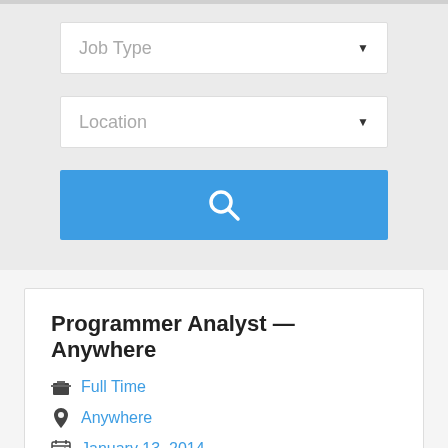[Figure (screenshot): Job Type dropdown selector with white background and down arrow]
[Figure (screenshot): Location dropdown selector with white background and down arrow]
[Figure (screenshot): Blue search button with white magnifying glass icon]
Programmer Analyst — Anywhere
Full Time
Anywhere
January 13, 2014
Execute performance tests,